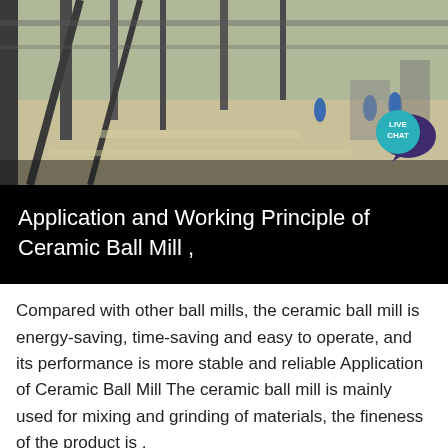[Figure (photo): Industrial factory floor scene with workers in blue uniforms and hard hats, metal structures and equipment visible overhead]
Application and Working Principle of Ceramic Ball Mill ,
Compared with other ball mills, the ceramic ball mill is energy-saving, time-saving and easy to operate, and its performance is more stable and reliable Application of Ceramic Ball Mill The ceramic ball mill is mainly used for mixing and grinding of materials, the fineness of the product is ,
Get More
[Figure (photo): Industrial machinery and equipment, partial view of factory setting]